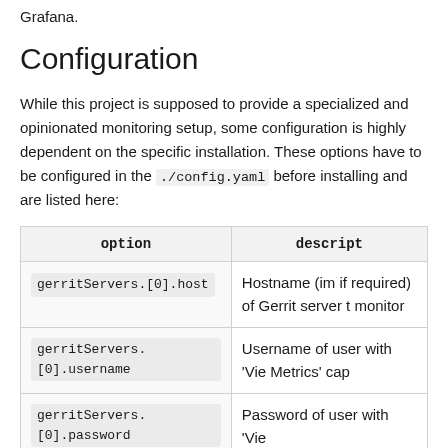Grafana.
Configuration
While this project is supposed to provide a specialized and opinionated monitoring setup, some configuration is highly dependent on the specific installation. These options have to be configured in the ./config.yaml before installing and are listed here:
| option | description |
| --- | --- |
| gerritServers.[0].host | Hostname (including port if required) of the Gerrit server to monitor |
| gerritServers.[0].username | Username of the user with 'View Metrics' capability |
| gerritServers.[0].password | Password of the user with 'View… |